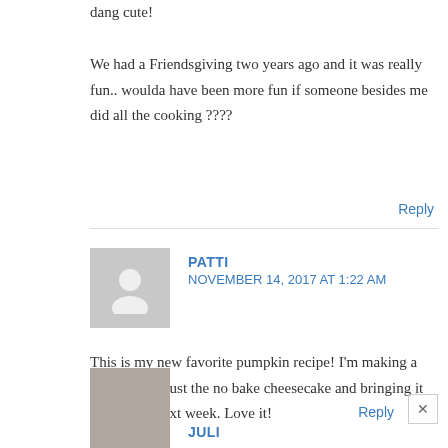dang cute!
We had a Friendsgiving two years ago and it was really fun.. woulda have been more fun if someone besides me did all the cooking ????
Reply
PATTI
NOVEMBER 14, 2017 AT 1:22 AM
This is my new favorite pumpkin recipe! I’m making a big batch of just the no bake cheesecake and bringing it in to work next week. Love it!
Reply
JULI